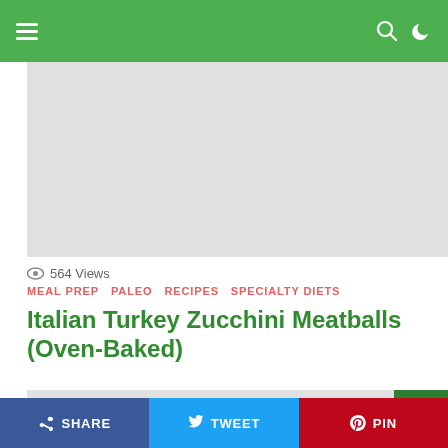Navigation bar with hamburger menu, search, and moon icons on green background
[Figure (photo): Large placeholder image at the top of the article, light gray]
564 Views
MEAL PREP   PALEO   RECIPES   SPECIALTY DIETS
Italian Turkey Zucchini Meatballs (Oven-Baked)
[Figure (photo): Second large placeholder image below the article title, light gray]
SHARE   TWEET   PIN